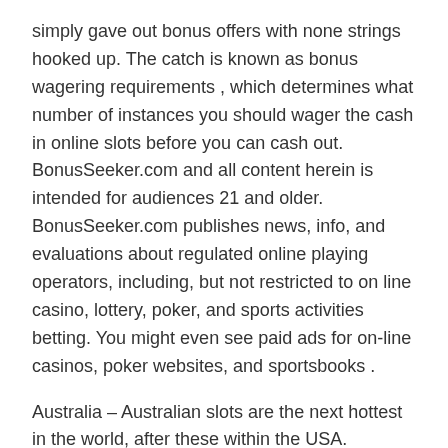simply gave out bonus offers with none strings hooked up. The catch is known as bonus wagering requirements , which determines what number of instances you should wager the cash in online slots before you can cash out. BonusSeeker.com and all content herein is intended for audiences 21 and older. BonusSeeker.com publishes news, info, and evaluations about regulated online playing operators, including, but not restricted to on line casino, lottery, poker, and sports activities betting. You might even see paid ads for on-line casinos, poker websites, and sportsbooks .
Australia – Australian slots are the next hottest in the world, after these within the USA. Australia started manufacturing slot machines as early as the Fifties. They aren't any completely different than these within the US, yet they've different names, similar to Pokey or Master Club. Nowadays, Australians play slot video games freely – not only in conventional casinos but also on the Internet. The titles they